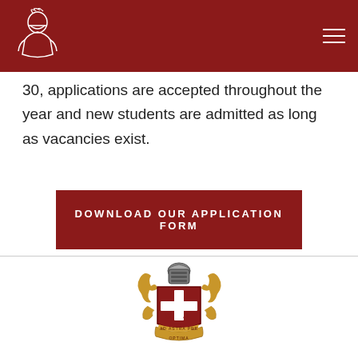30, applications are accepted throughout the year and new students are admitted as long as vacancies exist.
DOWNLOAD OUR APPLICATION FORM
[Figure (logo): School crest / coat of arms with knight helmet, shield bearing SJ and cross, gold decorative scrollwork, motto ribbon reading AD ASTRA PER OPTIMA]